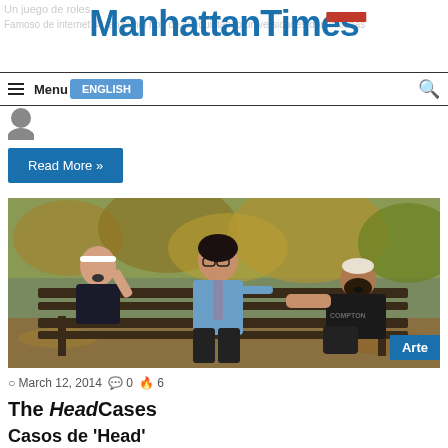Manhattan Times
Menu
Read More »
[Figure (photo): Three men sitting/lounging on a park bench outdoors with autumn foliage in background. One man with white headband on left, one man in light blue shirt and tie in center leaning back, one bearded man in dark clothing on right. An 'Arte' badge appears in the bottom right of the photo.]
March 12, 2014   0   6
The HeadCases
Casos de 'Head'